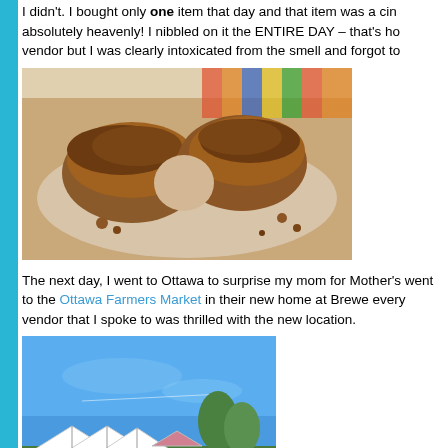I didn't. I bought only one item that day and that item was a cin... absolutely heavenly! I nibbled on it the ENTIRE DAY – that's ho... vendor but I was clearly intoxicated from the smell and forgot to...
[Figure (photo): Close-up photo of a pastry (cinnamon roll or similar baked good) broken in half on a white plate with colorful striped background, showing the inside texture with crumble topping]
The next day, I went to Ottawa to surprise my mom for Mother's... went to the Ottawa Farmers Market in their new home at Brewe... every vendor that I spoke to was thrilled with the new location.
[Figure (photo): Outdoor photo of the Ottawa Farmers Market showing vendor tents/stalls with white canopies, trees, blue sky, and people milling about]